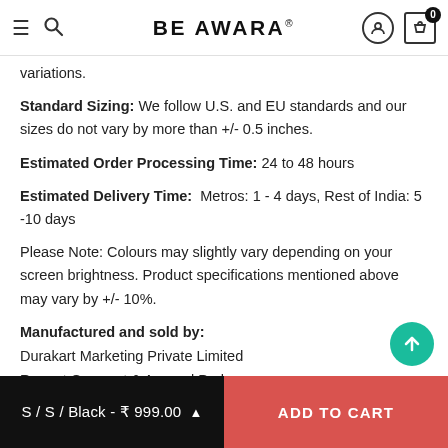BE AWARA
variations.
Standard Sizing: We follow U.S. and EU standards and our sizes do not vary by more than +/- 0.5 inches.
Estimated Order Processing Time: 24 to 48 hours
Estimated Delivery Time:  Metros: 1 - 4 days, Rest of India: 5 -10 days
Please Note: Colours may slightly vary depending on your screen brightness. Product specifications mentioned above may vary by +/- 10%.
Manufactured and sold by:
Durakart Marketing Private Limited
Regent Garment & Apparel Park,
Block 16, Ground Floor, Kolkata - 700029
Contact: customercare@beawara.com
S / S / Black - ₹ 999.00  ADD TO CART